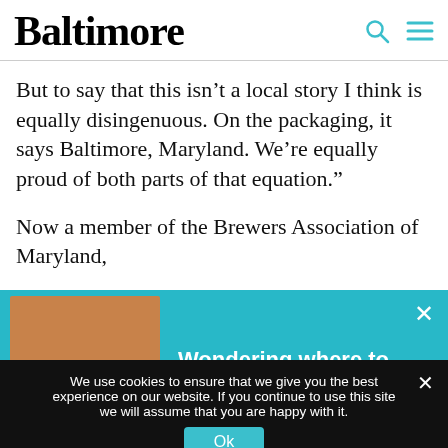Baltimore
But to say that this isn’t a local story I think is equally disingenuous. On the packaging, it says Baltimore, Maryland. We’re equally proud of both parts of that equation.”
Now a member of the Brewers Association of Maryland,
[Figure (screenshot): Advertisement banner with teal background showing a crab plate image and text: Wondering where to dine in Charm City? with a close (x) button]
We use cookies to ensure that we give you the best experience on our website. If you continue to use this site we will assume that you are happy with it. Ok